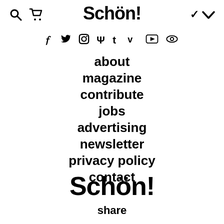Schön! [with search, cart, and chevron icons]
[Figure (other): Social media icons row: Facebook, Twitter, Instagram, Pinterest, Tumblr, Vimeo, YouTube, Spotify/other]
about
magazine
contribute
jobs
advertising
newsletter
privacy policy
contact
Schön!
share